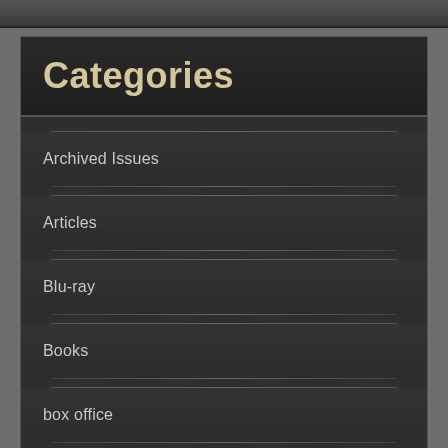Categories
Archived Issues
Articles
Blu-ray
Books
box office
CFQ Black Hole Ultra-Lounge Podcast
CFQ Laserblast Podcast
CFQ Review